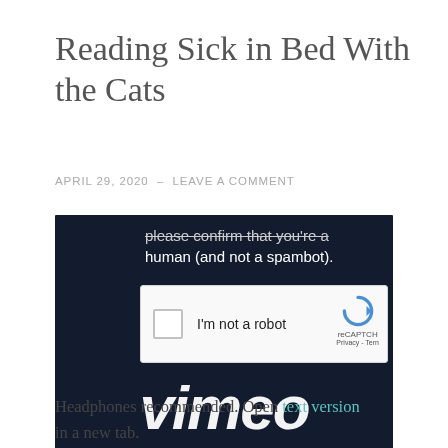Reading Sick in Bed With the Cats
APRIL 29, 2020 – LEAVE A COMMENT
[Figure (screenshot): Screenshot of a dark navy background (Vimeo player) showing a reCAPTCHA dialog with text 'please confirm that you're a human (and not a spambot).' and a CAPTCHA widget with checkbox labeled 'I'm not a robot' and reCAPTCHA branding. The Vimeo logo in white italic text is visible at the bottom.]
Headphones recommended. Open text version in a new tab.